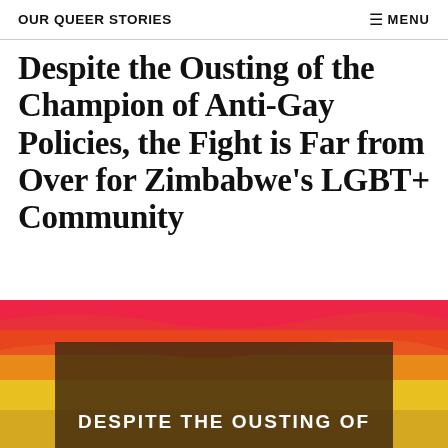OUR QUEER STORIES | ☰ MENU
Despite the Ousting of the Champion of Anti-Gay Policies, the Fight is Far from Over for Zimbabwe's LGBT+ Community
[Figure (photo): Rainbow-colored background image (red, orange, yellow stripes) with a dark brownish overlay box containing bold white text 'DESPITE THE OUSTING OF']